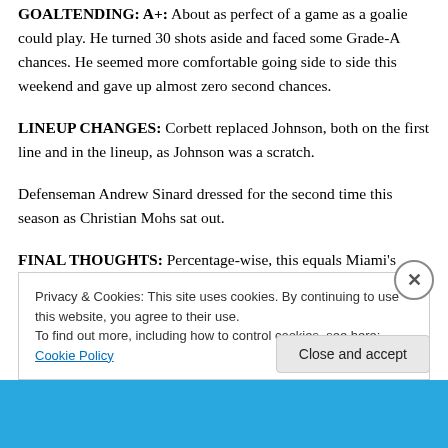GOALTENDING: A+: About as perfect of a game as a goalie could play. He turned 30 shots aside and faced some Grade-A chances. He seemed more comfortable going side to side this weekend and gave up almost zero second chances.
LINEUP CHANGES: Corbett replaced Johnson, both on the first line and in the lineup, as Johnson was a scratch.
Defenseman Andrew Sinard dressed for the second time this season as Christian Mohs sat out.
FINAL THOUGHTS: Percentage-wise, this equals Miami's
Privacy & Cookies: This site uses cookies. By continuing to use this website, you agree to their use.
To find out more, including how to control cookies, see here: Cookie Policy
Close and accept